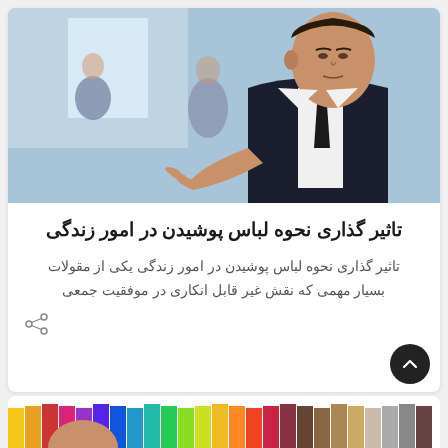[Figure (photo): A man in a dark business suit extending his hand for a handshake, with blurred office people in the background]
تاثیر گذاری نحوه لباس پوشیدن در امور زندگی
تاثیر گذاری نحوه لباس پوشیدن در امور زندگی یکی از مقولات بسیار مهمی که نقش غیر قابل انکاری در موفقیت جمعی
[Figure (photo): Partial bottom strip showing colorful pencils and partial person]